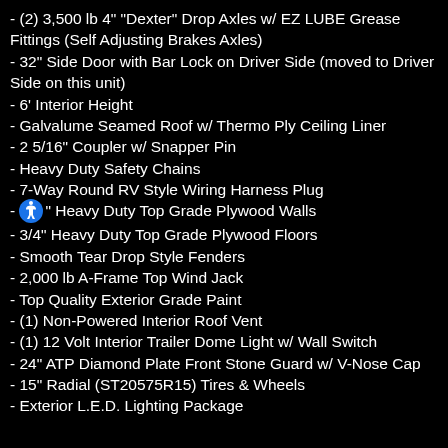- (2) 3,500 lb 4" "Dexter" Drop Axles w/ EZ LUBE Grease Fittings (Self Adjusting Brakes Axles)
- 32" Side Door with Bar Lock on Driver Side (moved to Driver Side on this unit)
- 6' Interior Height
- Galvalume Seamed Roof w/ Thermo Ply Ceiling Liner
- 2 5/16" Coupler w/ Snapper Pin
- Heavy Duty Safety Chains
- 7-Way Round RV Style Wiring Harness Plug
- [accessibility icon] " Heavy Duty Top Grade Plywood Walls
- 3/4" Heavy Duty Top Grade Plywood Floors
- Smooth Tear Drop Style Fenders
- 2,000 lb A-Frame Top Wind Jack
- Top Quality Exterior Grade Paint
- (1) Non-Powered Interior Roof Vent
- (1) 12 Volt Interior Trailer Dome Light w/ Wall Switch
- 24" ATP Diamond Plate Front Stone Guard w/ V-Nose Cap
- 15" Radial (ST20575R15) Tires & Wheels
- Exterior L.E.D. Lighting Package